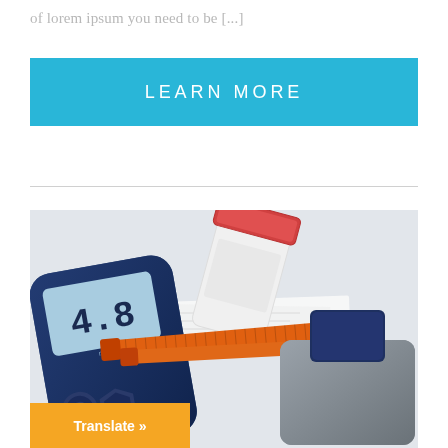of lorem ipsum you need to be [...]
LEARN MORE
[Figure (photo): Medical diabetes supplies including a blood glucose meter showing 4.8, insulin syringes with orange caps, a white pill bottle with red cap, and another medical device, arranged on a white surface with papers.]
Translate »